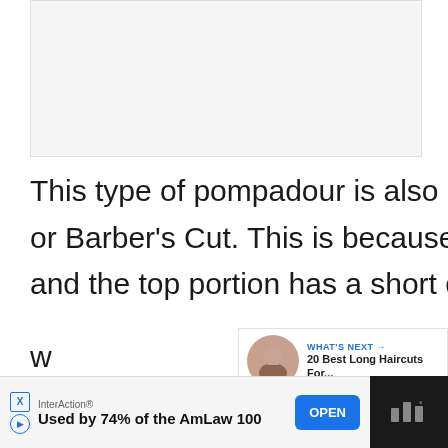[Figure (photo): Image placeholder area at top of page, light gray background]
This type of pompadour is also called the Ivy League or Barber's Cut. This is because the sides are cut short and the top portion has a short quiff.
This is one of the most professional hairstyles that one can sport. The ivy league
[Figure (other): Social media heart/like button (blue circle with heart icon), count of 4, and share button]
[Figure (other): WHAT'S NEXT panel showing '20 Best Long Haircuts For...' with thumbnail of woman with long hair]
InterAction® Used by 74% of the AmLaw 100
[Figure (other): OPEN button (blue) and dark video thumbnail box on right side of ad banner]